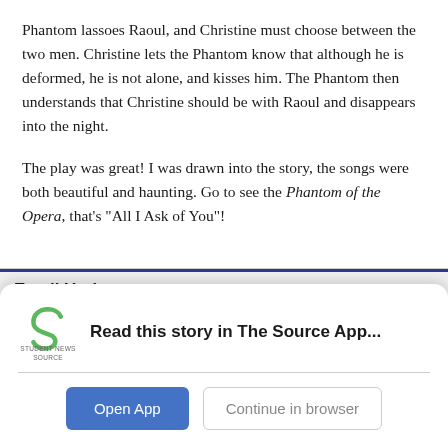Phantom lassoes Raoul, and Christine must choose between the two men. Christine lets the Phantom know that although he is deformed, he is not alone, and kisses him. The Phantom then understands that Christine should be with Raoul and disappears into the night.
The play was great! I was drawn into the story, the songs were both beautiful and haunting. Go to see the Phantom of the Opera, that's "All I Ask of You"!
Email Updates
Enter your email address below to receive our daily email updates
[Figure (logo): Student News Source app logo — green stylized 'S' shape with 'STUDENT NEWS SOURCE' text beneath]
Read this story in The Source App...